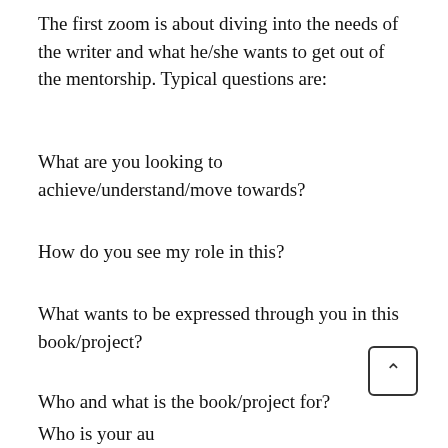The first zoom is about diving into the needs of the writer and what he/she wants to get out of the mentorship. Typical questions are:
What are you looking to achieve/understand/move towards?
How do you see my role in this?
What wants to be expressed through you in this book/project?
Who and what is the book/project for?
Who is your audience?